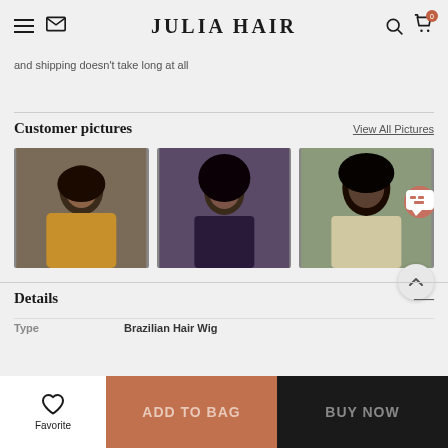JULIA HAIR
and shipping doesn't take long at all
Customer pictures
View All Pictures
[Figure (photo): Customer photo 1 - woman with curly hair in yellow jacket]
[Figure (photo): Customer photo 2 - woman with long curly hair]
[Figure (photo): Customer photo 3 - back view of curly hair]
Details
| Type |  |
| --- | --- |
| Type | Brazilian Hair Wig |
ADD TO BAG
BUY NOW
Favorite